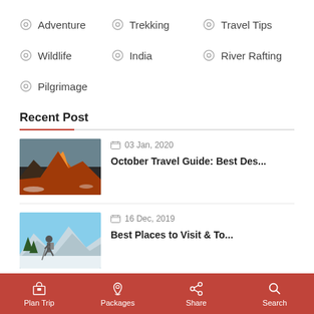Adventure
Trekking
Travel Tips
Wildlife
India
River Rafting
Pilgrimage
Recent Post
[Figure (photo): Mountain peaks with orange/red sunset glow, snow at base]
03 Jan, 2020
October Travel Guide: Best Des...
[Figure (photo): Hiker with backpack standing on snowy mountain terrain with trees]
16 Dec, 2019
Best Places to Visit & To...
Plan Trip   Packages   Share   Search